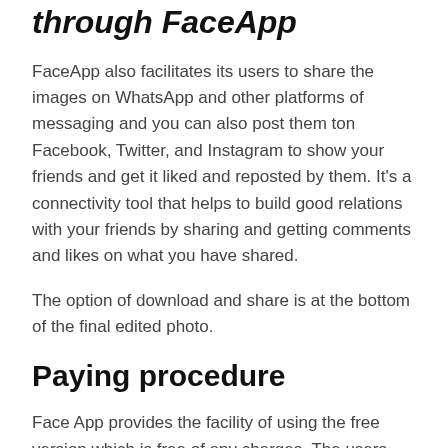through FaceApp
FaceApp also facilitates its users to share the images on WhatsApp and other platforms of messaging and you can also post them ton Facebook, Twitter, and Instagram to show your friends and get it liked and reposted by them. It's a connectivity tool that helps to build good relations with your friends by sharing and getting comments and likes on what you have shared.
The option of download and share is at the bottom of the final edited photo.
Paying procedure
Face App provides the facility of using the free version which is free of any charges. The users can use the free version for as many times as they want. This free version